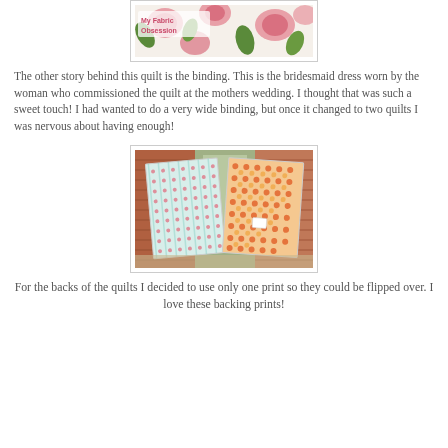[Figure (photo): Partial view of a floral fabric with pink roses and green leaves, with text overlay 'My Fabric Obsession']
The other story behind this quilt is the binding. This is the bridesmaid dress worn by the woman who commissioned the quilt at the mothers wedding. I thought that was such a sweet touch! I had wanted to do a very wide binding, but once it changed to two quilts I was nervous about having enough!
[Figure (photo): Two patterned quilts hanging outdoors against a brick wall — left quilt has a mint/teal and pink dot pattern, right quilt has an orange/red floral print]
For the backs of the quilts I decided to use only one print so they could be flipped over. I love these backing prints!